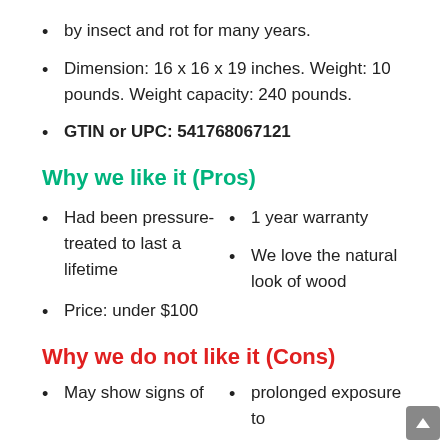by insect and rot for many years.
Dimension: 16 x 16 x 19 inches. Weight: 10 pounds. Weight capacity: 240 pounds.
GTIN or UPC: 541768067121
Why we like it (Pros)
Had been pressure-treated to last a lifetime
1 year warranty
We love the natural look of wood
Price: under $100
Why we do not like it (Cons)
May show signs of
prolonged exposure to